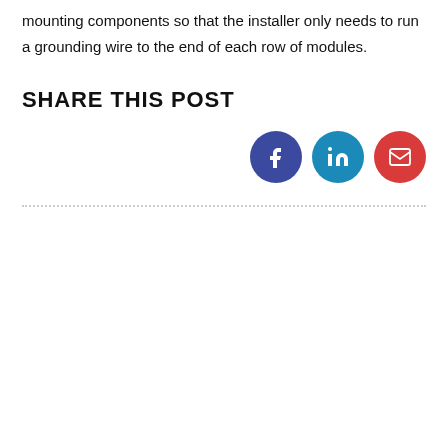mounting components so that the installer only needs to run a grounding wire to the end of each row of modules.
SHARE THIS POST
[Figure (infographic): Three circular social share buttons: Facebook (dark blue), LinkedIn (teal blue), Email (red)]